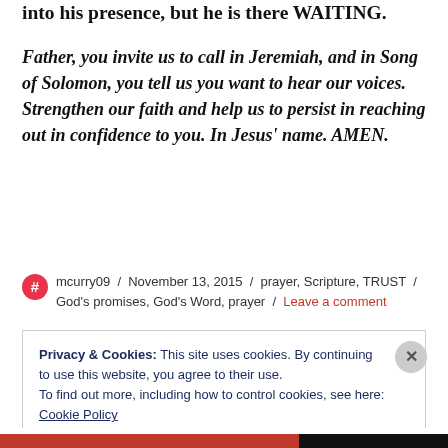into his presence, but he is there WAITING.
Father, you invite us to call in Jeremiah, and in Song of Solomon, you tell us you want to hear our voices. Strengthen our faith and help us to persist in reaching out in confidence to you. In Jesus' name. AMEN.
mcurry09 / November 13, 2015 / prayer, Scripture, TRUST / God's promises, God's Word, prayer / Leave a comment
Privacy & Cookies: This site uses cookies. By continuing to use this website, you agree to their use.
To find out more, including how to control cookies, see here: Cookie Policy
Close and accept